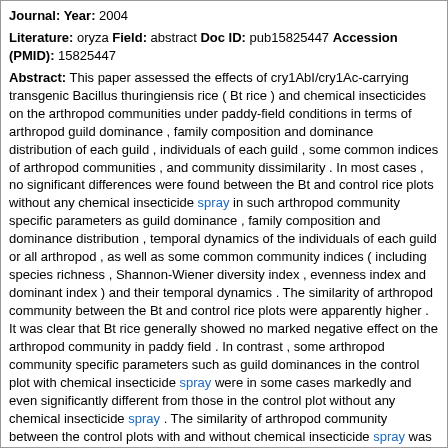Journal: Year: 2004
Literature: oryza Field: abstract Doc ID: pub15825447 Accession (PMID): 15825447
Abstract: This paper assessed the effects of cry1AbI/cry1Ac-carrying transgenic Bacillus thuringiensis rice ( Bt rice ) and chemical insecticides on the arthropod communities under paddy-field conditions in terms of arthropod guild dominance , family composition and dominance distribution of each guild , individuals of each guild , some common indices of arthropod communities , and community dissimilarity . In most cases , no significant differences were found between the Bt and control rice plots without any chemical insecticide spray in such arthropod community specific parameters as guild dominance , family composition and dominance distribution , temporal dynamics of the individuals of each guild or all arthropod , as well as some common community indices ( including species richness , Shannon-Wiener diversity index , evenness index and dominant index ) and their temporal dynamics . The similarity of arthropod community between the Bt and control rice plots were apparently higher . It was clear that Bt rice generally showed no marked negative effect on the arthropod community in paddy field . In contrast , some arthropod community specific parameters such as guild dominances in the control plot with chemical insecticide spray were in some cases markedly and even significantly different from those in the control plot without any chemical insecticide spray . The similarity of arthropod community between the control plots with and without chemical insecticide spray was relatively lower . It could be concluded that the effect of Bt rice on the arthropod community was apparently lower than that of chemical insecticides .
Matching Sentences:
[ Sen. 5, subscore: 2.00 ]: In contrast , some arthropod community